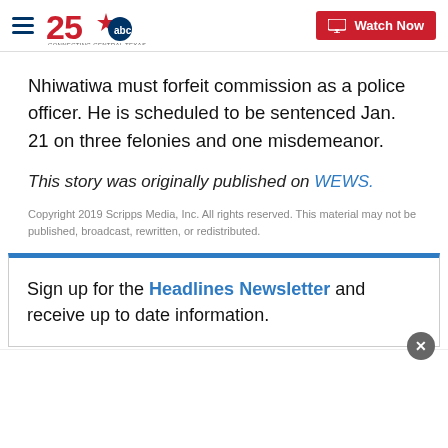KXXV 25 ABC - Connecting Central Texas | Watch Now
Nhiwatiwa must forfeit commission as a police officer. He is scheduled to be sentenced Jan. 21 on three felonies and one misdemeanor.
This story was originally published on WEWS.
Copyright 2019 Scripps Media, Inc. All rights reserved. This material may not be published, broadcast, rewritten, or redistributed.
Sign up for the Headlines Newsletter and receive up to date information.